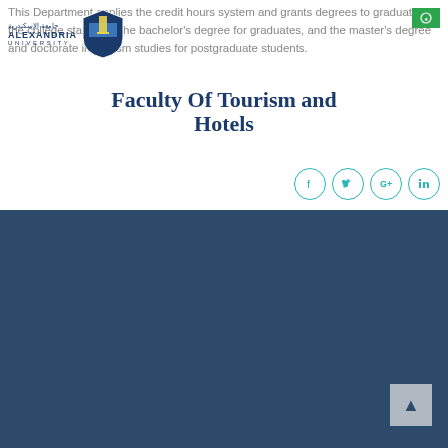[Figure (logo): Alexandria University logo with shield and Arabic text]
Faculty Of Tourism and Hotels
This Department applies the credit hours system and grants degrees to graduates of the college starting in the bachelor's degree for graduates, and the master's degree and doctorate in tourism studies for postgraduate students.
[Figure (infographic): Social media share buttons: Facebook, Twitter, Google+, LinkedIn]
Reach Us On Social Media
[Figure (infographic): Social media icons: Facebook, Twitter, YouTube, Messenger]